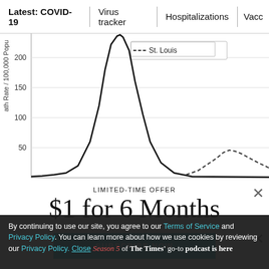Latest: COVID-19  |  Virus tracker  |  Hospitalizations  |  Vacc...
[Figure (continuous-plot): Partial line chart showing death rate per 100,000 population. Y-axis shows values 50, 100, 150, 200. A solid black line peaks sharply at ~240 then drops. A dashed line labeled 'St. Louis' rises gradually on the right side peaking around 50. X-axis labels are cut off. Left axis label reads 'ath Rate / 100,000 Popu' (truncated).]
LIMITED-TIME OFFER
$1 for 6 Months
SUBSCRIBE NOW
By continuing to use our site, you agree to our Terms of Service and Privacy Policy. You can learn more about how we use cookies by reviewing our Privacy Policy. Close